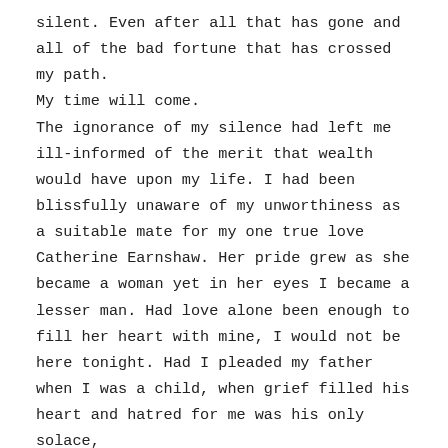silent. Even after all that has gone and all of the bad fortune that has crossed my path.
My time will come.
The ignorance of my silence had left me ill-informed of the merit that wealth would have upon my life. I had been blissfully unaware of my unworthiness as a suitable mate for my one true love Catherine Earnshaw. Her pride grew as she became a woman yet in her eyes I became a lesser man. Had love alone been enough to fill her heart with mine, I would not be here tonight. Had I pleaded my father when I was a child, when grief filled his heart and hatred for me was his only solace,